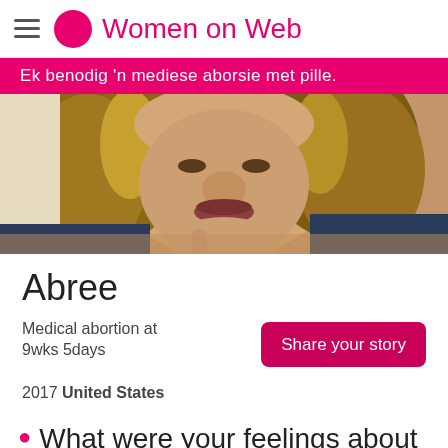Women on Web
Ek benodig 'n mediese aborsie met pille.
[Figure (photo): Close-up photo of a young woman with curly blonde-highlighted hair, looking at the camera with a neutral expression, resting her hand near her chin.]
Abree
Medical abortion at 9wks 5days
2017 United States
Share your story
What were your feelings about doing the abortion(s)?